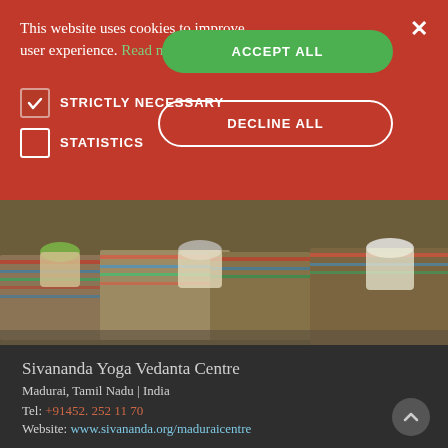This website uses cookies to improve user experience. Read more
ACCEPT ALL
STRICTLY NECESSARY
DECLINE ALL
STATISTICS
[Figure (photo): People doing yoga on colorful striped mats, viewed from behind, on a grey floor]
Sivananda Yoga Vedanta Centre
Madurai, Tamil Nadu | India
Tel: +91452. 252 11 70
Website: www.sivananda.org/maduraicentre